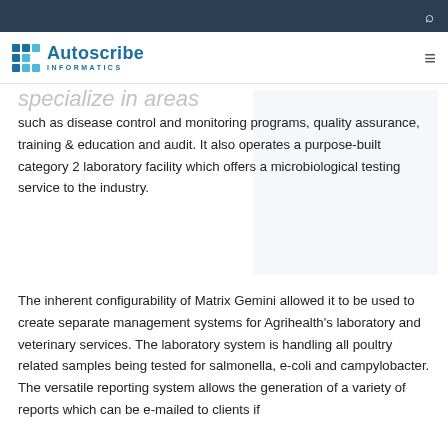Autoscribe Informatics
specialize in areas
such as disease control and monitoring programs, quality assurance, training & education and audit. It also operates a purpose-built category 2 laboratory facility which offers a microbiological testing service to the industry.
The inherent configurability of Matrix Gemini allowed it to be used to create separate management systems for Agrihealth's laboratory and veterinary services. The laboratory system is handling all poultry related samples being tested for salmonella, e-coli and campylobacter. The versatile reporting system allows the generation of a variety of reports which can be e-mailed to clients if